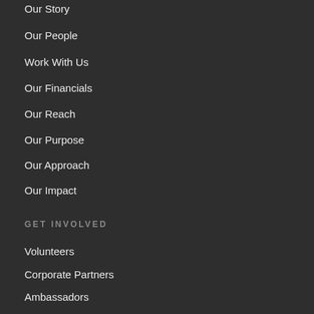Our Story
Our People
Work With Us
Our Financials
Our Reach
Our Purpose
Our Approach
Our Impact
GET INVOLVED
Volunteers
Corporate Partners
Ambassadors
Next Generation Committee